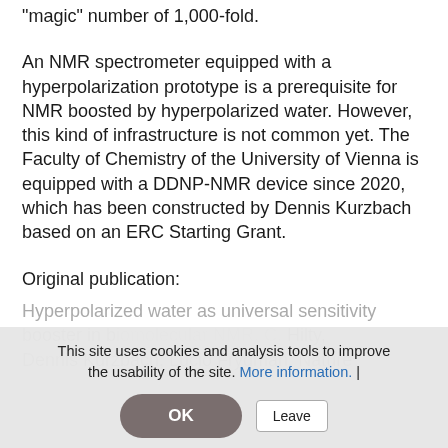"magic" number of 1,000-fold.
An NMR spectrometer equipped with a hyperpolarization prototype is a prerequisite for NMR boosted by hyperpolarized water. However, this kind of infrastructure is not common yet. The Faculty of Chemistry of the University of Vienna is equipped with a DDNP-NMR device since 2020, which has been constructed by Dennis Kurzbach based on an ERC Starting Grant.
Original publication:
Hyperpolarized water as universal sensitivity booster in biomolecular NMR. C. Hilty, Dennis Kurzbach, Lucio Frydman, Nature
This site uses cookies and analysis tools to improve the usability of the site. More information. |